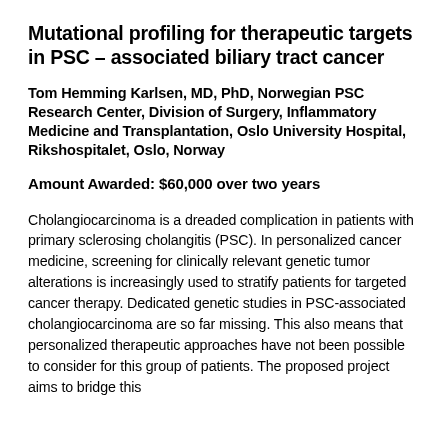Mutational profiling for therapeutic targets in PSC – associated biliary tract cancer
Tom Hemming Karlsen, MD, PhD, Norwegian PSC Research Center, Division of Surgery, Inflammatory Medicine and Transplantation, Oslo University Hospital, Rikshospitalet, Oslo, Norway
Amount Awarded: $60,000 over two years
Cholangiocarcinoma is a dreaded complication in patients with primary sclerosing cholangitis (PSC). In personalized cancer medicine, screening for clinically relevant genetic tumor alterations is increasingly used to stratify patients for targeted cancer therapy. Dedicated genetic studies in PSC-associated cholangiocarcinoma are so far missing. This also means that personalized therapeutic approaches have not been possible to consider for this group of patients. The proposed project aims to bridge this